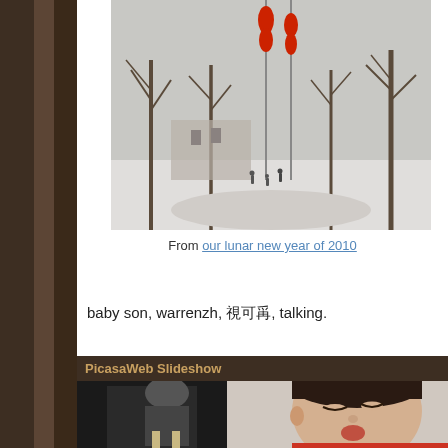[Figure (photo): Winter street scene with bare trees, red lanterns on poles, people walking on snowy path, gray overcast sky]
From our lunar new year of 2010
baby son, warrenzh, 很可爱, talking.
[Figure (photo): PicasaWeb Slideshow showing a young Asian boy making a talking/pouting face, wearing a red and gray sweater, with an adult sitting in background at a restaurant or cafe]